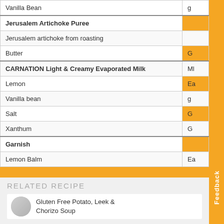| Ingredient | Unit |  |
| --- | --- | --- |
| Vanilla Bean | g |  |
| Jerusalem Artichoke Puree |  | orange |
| Jerusalem artichoke from roasting |  |  |
| Butter | G | orange |
| CARNATION Light & Creamy Evaporated Milk | Ml |  |
| Lemon | Ea | orange |
| Vanilla bean | g |  |
| Salt | G | orange |
| Xanthum | G |  |
| Garnish |  | orange |
| Lemon Balm | Ea |  |
RELATED RECIPE
Gluten Free Potato, Leek & Chorizo Soup